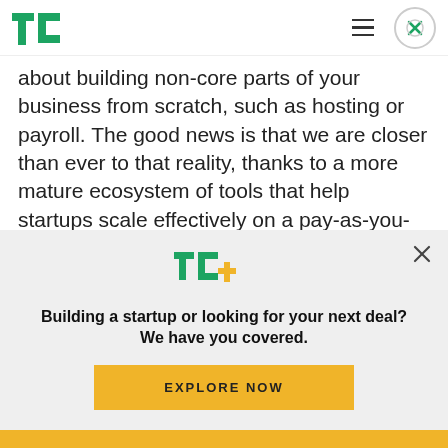TechCrunch header with logo, hamburger menu, and close button
about building non-core parts of your business from scratch, such as hosting or payroll. The good news is that we are closer than ever to that reality, thanks to a more mature ecosystem of tools that help startups scale effectively on a pay-as-you-grow basis.
The new startup stack
[Figure (other): TechCrunch+ promotional modal overlay with TC+ logo, headline 'Building a startup or looking for your next deal? We have you covered.' and EXPLORE NOW button]